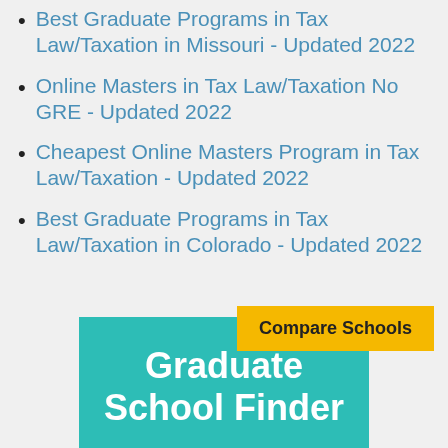Best Graduate Programs in Tax Law/Taxation in Missouri - Updated 2022
Online Masters in Tax Law/Taxation No GRE - Updated 2022
Cheapest Online Masters Program in Tax Law/Taxation - Updated 2022
Best Graduate Programs in Tax Law/Taxation in Colorado - Updated 2022
Compare Schools
Graduate School Finder